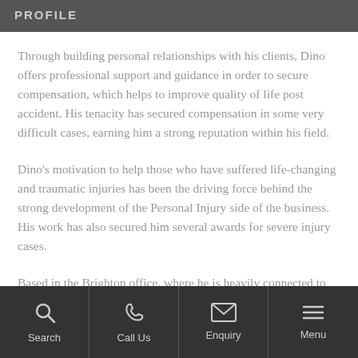PROFILE
Through building personal relationships with his clients, Dino offers professional support and guidance in order to secure compensation, which helps to improve quality of life post accident. His tenacity has secured compensation in some very difficult cases, earning him a strong reputation within his field.
Dino's motivation to help those who have suffered life-changing and traumatic injuries has been the driving force behind the strong development of the Personal Injury side of the business. His work has also secured him several awards for severe injury cases.
Based in the Brighton office, where he is heavily connected to
Search  Call Us  Enquiry  Menu